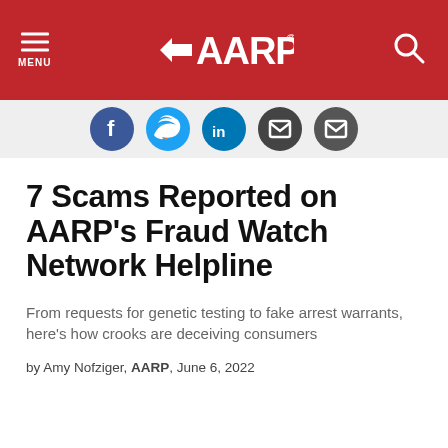MENU | AARP | Search
[Figure (other): Social media share icons row: Facebook (blue), Twitter (blue), LinkedIn (blue), Email/dark, Email/dark circles]
7 Scams Reported on AARP's Fraud Watch Network Helpline
From requests for genetic testing to fake arrest warrants, here's how crooks are deceiving consumers
by Amy Nofziger, AARP, June 6, 2022